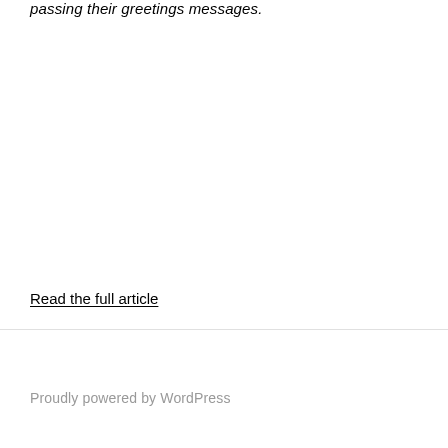passing their greetings messages.
Read the full article
Proudly powered by WordPress